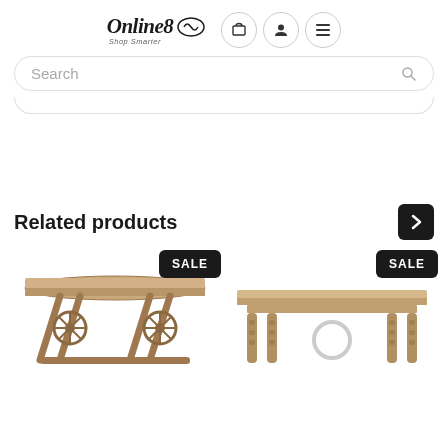Online8 Shop Smarter — navigation header with cart, account, and menu icons
Search
Related products
[Figure (photo): Rustic wooden pedestal dining table with cross-base and wheel detail, with SALE badge]
[Figure (photo): Rustic wooden farmhouse dining table with turned legs, with SALE badge]